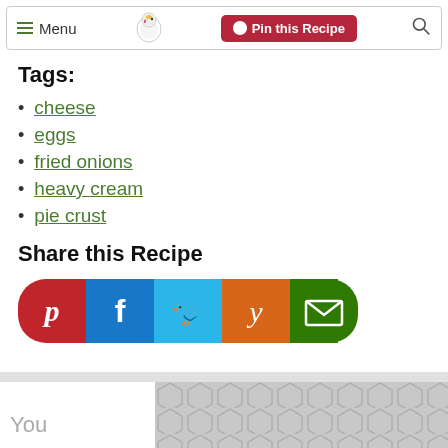Menu | Pin this Recipe | [search]
Tags:
cheese
eggs
fried onions
heavy cream
pie crust
Share this Recipe
[Figure (infographic): Social share buttons: Pinterest (red), Facebook (blue), Twitter (light blue), Yummly (orange), Email (green)]
You